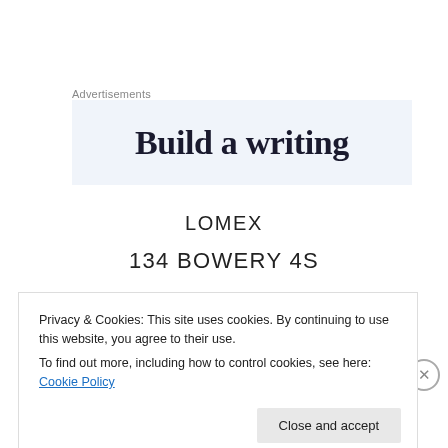Advertisements
[Figure (other): Advertisement banner with text 'Build a writing' on light blue background]
LOMEX
134 BOWERY 4S
Privacy & Cookies: This site uses cookies. By continuing to use this website, you agree to their use.
To find out more, including how to control cookies, see here: Cookie Policy